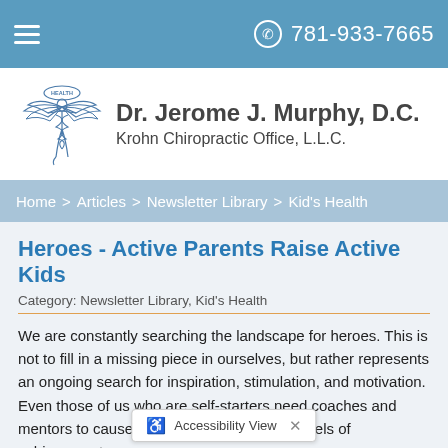781-933-7665
[Figure (logo): Caduceus-style chiropractic logo with angel figure and wings, labeled HEALTH]
Dr. Jerome J. Murphy, D.C. Krohn Chiropractic Office, L.L.C.
Home > Articles > Newsletter Library > Kid's Health
Heroes - Active Parents Raise Active Kids
Category: Newsletter Library, Kid's Health
We are constantly searching the landscape for heroes. This is not to fill in a missing piece in ourselves, but rather represents an ongoing search for inspiration, stimulation, and motivation. Even those of us who are self-starters need coaches and mentors to cause us to reach ever-higher levels of achievement.